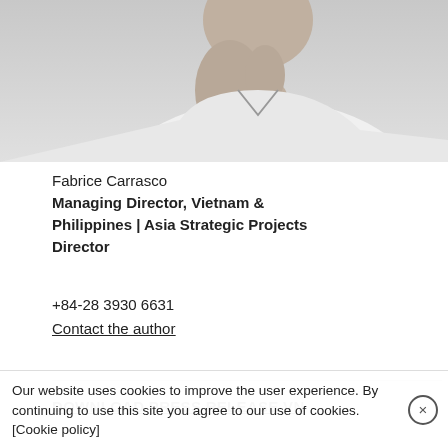[Figure (photo): Black and white photograph of a person, cropped showing upper body and hands, wearing a white shirt, adjusting collar or tie]
Fabrice Carrasco
Managing Director, Vietnam & Philippines | Asia Strategic Projects Director
+84-28 3930 6631
Contact the author
DOWNLOAD PRESS RELEASE VN
Our website uses cookies to improve the user experience. By continuing to use this site you agree to our use of cookies. [Cookie policy]